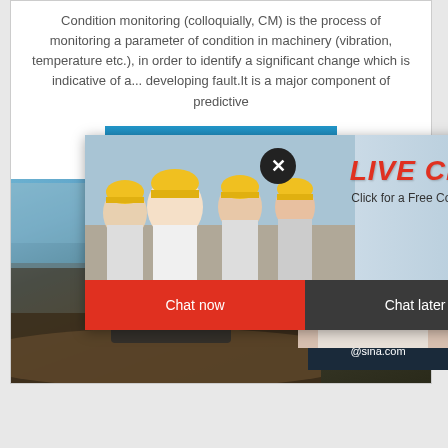Condition monitoring (colloquially, CM) is the process of monitoring a parameter of condition in machinery (vibration, temperature etc.), in order to identify a significant change which is indicative of a... developing fault.It is a major component of predictive
[Figure (screenshot): Blue 'CHAT ONLINE' button]
[Figure (screenshot): Live chat popup overlay with workers in yellow helmets, 'LIVE CHAT' heading, 'Click for a Free Consultation' text, Chat now and Chat later buttons, and a woman customer service agent photo in background]
[Figure (screenshot): Sidebar panel with dark navy background showing: partial italic text 'ave any requests, click here.', orange Quotation button, dashed divider, Enquiry text, dashed divider, limingjlmofen@sina.com email]
[Figure (photo): Industrial machinery/excavator working at a construction or mining site with dirt and blue sky background]